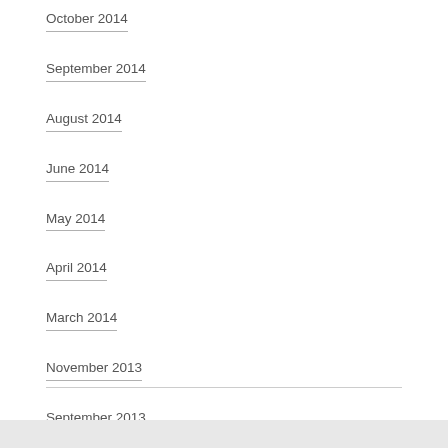October 2014
September 2014
August 2014
June 2014
May 2014
April 2014
March 2014
November 2013
September 2013
July 2013